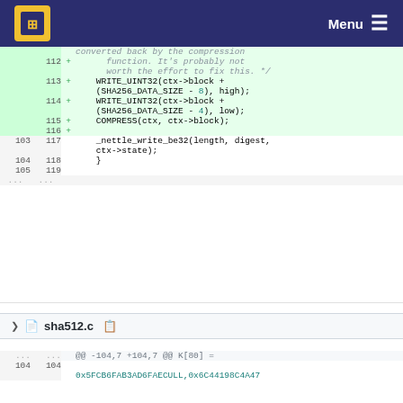Menu
converted back by the compression function. It's probably not worth the effort to fix this. */
113 + WRITE_UINT32(ctx->block + (SHA256_DATA_SIZE - 8), high);
114 + WRITE_UINT32(ctx->block + (SHA256_DATA_SIZE - 4), low);
115 + COMPRESS(ctx, ctx->block);
116 +
103 117     _nettle_write_be32(length, digest, ctx->state);
104 118     }
105 119
... ...
sha512.c
@@ -104,7 +104,7 @@ K[80] =
104 104
0x5FCB6FAB3AD6FAECULL,0x6C44198C4A47